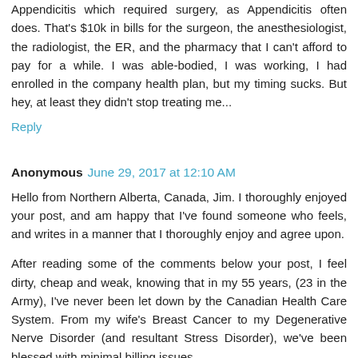Appendicitis which required surgery, as Appendicitis often does. That's $10k in bills for the surgeon, the anesthesiologist, the radiologist, the ER, and the pharmacy that I can't afford to pay for a while. I was able-bodied, I was working, I had enrolled in the company health plan, but my timing sucks. But hey, at least they didn't stop treating me...
Reply
Anonymous  June 29, 2017 at 12:10 AM
Hello from Northern Alberta, Canada, Jim. I thoroughly enjoyed your post, and am happy that I've found someone who feels, and writes in a manner that I thoroughly enjoy and agree upon.
After reading some of the comments below your post, I feel dirty, cheap and weak, knowing that in my 55 years, (23 in the Army), I've never been let down by the Canadian Health Care System. From my wife's Breast Cancer to my Degenerative Nerve Disorder (and resultant Stress Disorder), we've been blessed with minimal billing issues.